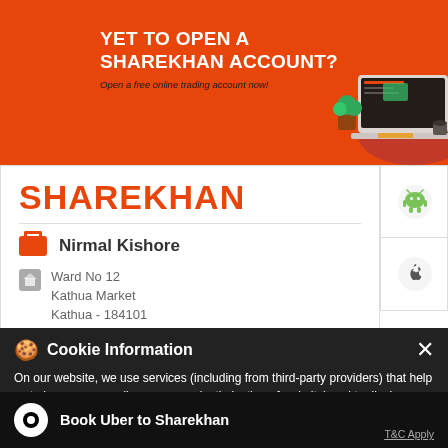[Figure (screenshot): Orange Sharekhan promotional banner with text 'YET TO OPEN A SHAREKHAN ACCOUNT?' and laptop/plant illustration]
YET TO OPEN A SHAREKHAN ACCOUNT?
Open a free online trading account now!
SHAREKHAN
Nirmal Kishore
Ward No 12
Kathua Market
Kathua - 184101
Cookie Information
On our website, we use services (including from third-party providers) that help us to improve our online presence (optimization of website) and to display content that is geared to their interests. We need your consent before being able to use these services.
Book Uber to Sharekhan
T&C Apply